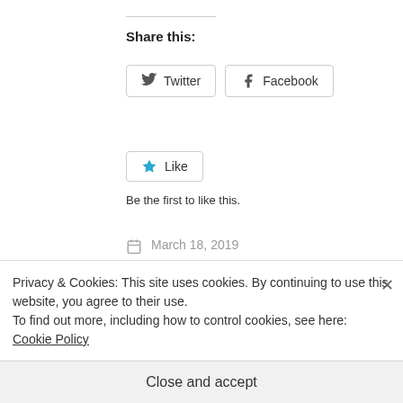Share this:
Twitter  Facebook
Like
Be the first to like this.
March 18, 2019
karlschuettler
elite colleges, homelessness, journalism, programming note
Privacy & Cookies: This site uses cookies. By continuing to use this website, you agree to their use.
To find out more, including how to control cookies, see here: Cookie Policy
Close and accept